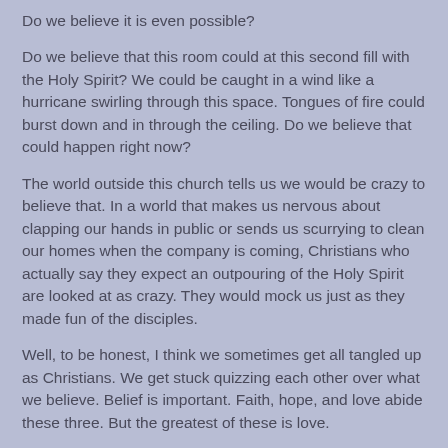Do we believe it is even possible?
Do we believe that this room could at this second fill with the Holy Spirit? We could be caught in a wind like a hurricane swirling through this space. Tongues of fire could burst down and in through the ceiling. Do we believe that could happen right now?
The world outside this church tells us we would be crazy to believe that. In a world that makes us nervous about clapping our hands in public or sends us scurrying to clean our homes when the company is coming, Christians who actually say they expect an outpouring of the Holy Spirit are looked at as crazy. They would mock us just as they made fun of the disciples.
Well, to be honest, I think we sometimes get all tangled up as Christians. We get stuck quizzing each other over what we believe. Belief is important. Faith, hope, and love abide these three. But the greatest of these is love.